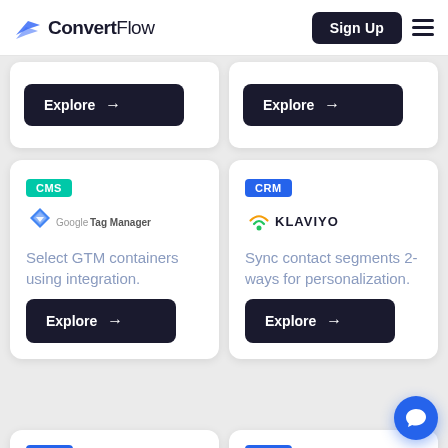ConvertFlow — Sign Up
[Figure (logo): ConvertFlow logo with blue wing icon and dark text]
[Figure (screenshot): Explore button (arrow right) in dark background — top left card partial]
[Figure (screenshot): Explore button (arrow right) in dark background — top right card partial]
CMS
[Figure (logo): Google Tag Manager logo]
Select GTM containers using integration.
[Figure (screenshot): Explore button with arrow]
CRM
[Figure (logo): Klaviyo logo — green wifi-like arc icon with KLAVIYO text]
Sync contact segments 2-ways for personalization.
[Figure (screenshot): Explore button with arrow]
CRM
CRM